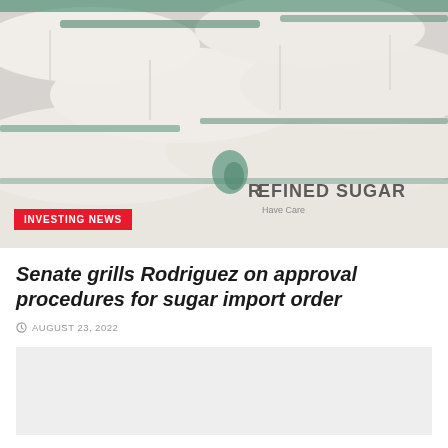[Figure (photo): Stacked white bags of refined sugar with green branding/text visible on the bags. The bags are piled up with a label reading 'REFINED SUGAR' visible on one bag.]
INVESTING NEWS
Senate grills Rodriguez on approval procedures for sugar import order
AUGUST 23, 2022
[Figure (other): Advertisement placeholder box (gray rectangle)]